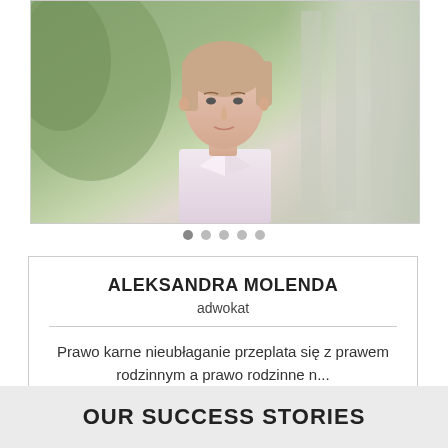[Figure (photo): Professional photo of Aleksandra Molenda, a woman in a light pink/white shirt, photographed outdoors with blurred greenery background]
ALEKSANDRA MOLENDA
adwokat
Prawo karne nieubłaganie przeplata się z prawem rodzinnym a prawo rodzinne n...
OUR SUCCESS STORIES